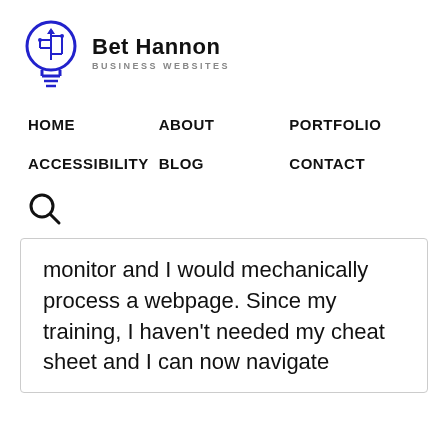[Figure (logo): Bet Hannon Business Websites logo with lightbulb circuit icon in blue]
HOME
ABOUT
PORTFOLIO
ACCESSIBILITY
BLOG
CONTACT
[Figure (other): Search icon (magnifying glass)]
monitor and I would mechanically process a webpage. Since my training, I haven't needed my cheat sheet and I can now navigate